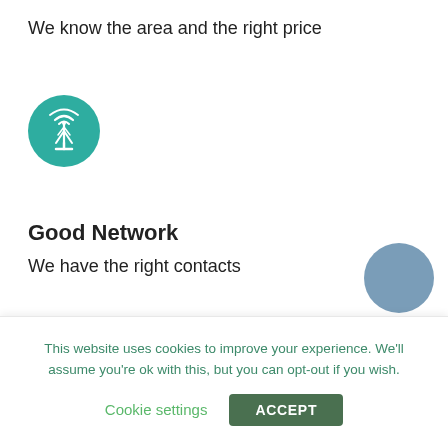We know the area and the right price
[Figure (illustration): Teal circle icon with a signal tower / broadcast antenna symbol]
Good Network
We have the right contacts
[Figure (illustration): Teal circle icon with a decorative snowflake/diamond pattern symbol]
100% commitment
We help you with all details before and afte…
This website uses cookies to improve your experience. We'll assume you're ok with this, but you can opt-out if you wish.
Cookie settings
ACCEPT